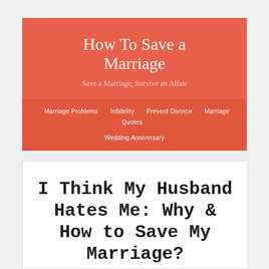How To Save a Marriage
Save a Marriage, Survive an Affair
Marriage Problems | Infidelity | Prevent Divorce | Marriage Quotes | Wedding Anniversary
I Think My Husband Hates Me: Why & How to Save My Marriage?